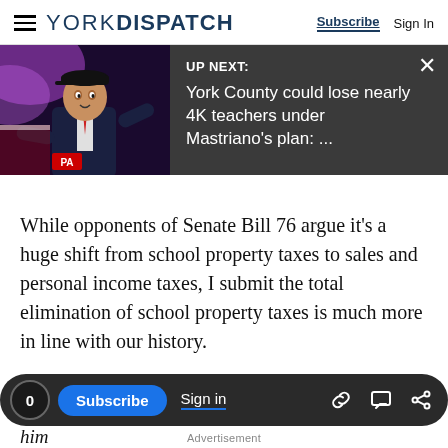YORK DISPATCH — Subscribe | Sign In
[Figure (screenshot): Video thumbnail of a man in a suit pointing, with PA badge, on dark background, with 'UP NEXT' label and title 'York County could lose nearly 4K teachers under Mastriano's plan: ...']
While opponents of Senate Bill 76 argue it's a huge shift from school property taxes to sales and personal income taxes, I submit the total elimination of school property taxes is much more in line with our history.
— State Sen. Mike Folmer represents the 48th Senate District in the Pennsylvania State Legislature. Reach him at www.senatorfolmer.com